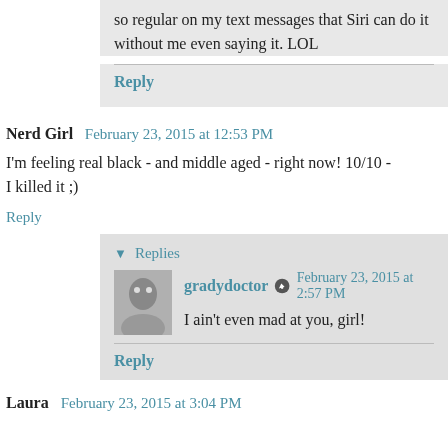so regular on my text messages that Siri can do it without me even saying it. LOL
Reply
Nerd Girl   February 23, 2015 at 12:53 PM
I'm feeling real black - and middle aged - right now! 10/10 - I killed it ;)
Reply
Replies
gradydoctor   February 23, 2015 at 2:57 PM
I ain't even mad at you, girl!
Reply
Laura   February 23, 2015 at 3:04 PM